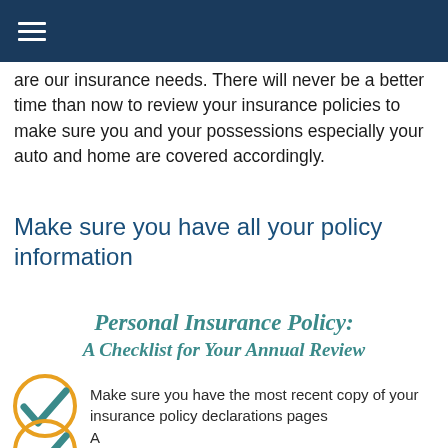are our insurance needs. There will never be a better time than now to review your insurance policies to make sure you and your possessions especially your auto and home are covered accordingly.
Make sure you have all your policy information
[Figure (infographic): Infographic titled 'Personal Insurance Policy: A Checklist for Your Annual Review' with a teal checkmark inside a gold circle, followed by checklist item text. A second partial checklist item is visible at the bottom.]
Make sure you have the most recent copy of your insurance policy declarations pages